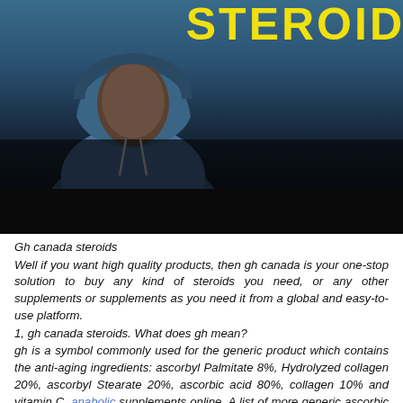[Figure (photo): Photo of a person in a blue hoodie against a dark background, with large yellow bold text 'STEROID' partially visible in the top right corner. Below the photo is a dark/black bar.]
Gh canada steroids
Well if you want high quality products, then gh canada is your one-stop solution to buy any kind of steroids you need, or any other supplements or supplements as you need it from a global and easy-to-use platform.
1, gh canada steroids. What does gh mean?
gh is a symbol commonly used for the generic product which contains the anti-aging ingredients: ascorbyl Palmitate 8%, Hydrolyzed collagen 20%, ascorbyl Stearate 20%, ascorbic acid 80%, collagen 10% and vitamin C, anabolic supplements online. A list of more generic ascorbic acid and collagen supplements can be found here from a company called "Makers of Life"
2, anabolic supplements bodybuilding, https://turtlespaces.org/community/profile/gana19078643/. What products can I use for GH, anabolic steroid laws in canada?
GH replacement products can be used for any kind of problems such as low GH, mild hypoglycemia, acne, and other types of GH